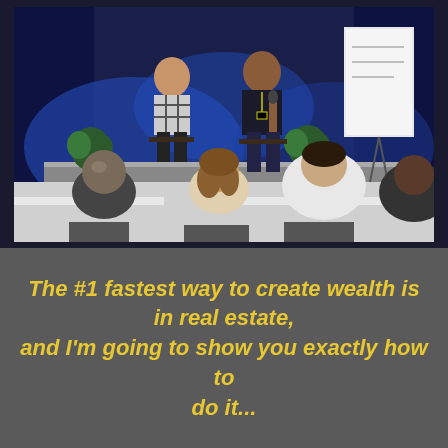[Figure (photo): A seminar or conference room scene. Two men sit on a small stage in front of a blue-lit curtain backdrop and a whiteboard. One man wears a plaid shirt, the other wears a dark blazer and holds a microphone. In the foreground, several audience members are seated in chairs with their backs to the camera, watching the speakers.]
The #1 fastest way to create wealth is in real estate, and I'm going to show you exactly how to do it...